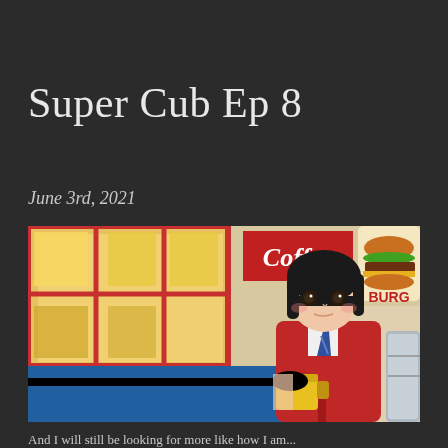Super Cub Ep 8
June 3rd, 2021
[Figure (illustration): Anime screenshot from Super Cub Episode 8 showing a girl with short black hair wearing a red jacket, holding a yellow cup, standing in front of a coffee shop window with red frames. A burger sign is visible in the upper right corner.]
And I will still be looking for more like how I am...